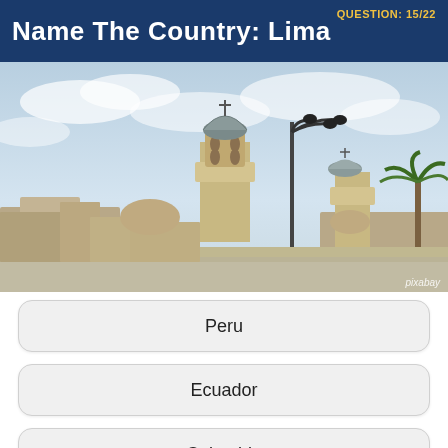Name The Country: Lima
QUESTION: 15/22
[Figure (photo): Photo of Lima, Peru showing colonial church towers and a street lamp against a cloudy sky, with palm trees visible on the right. Pixabay watermark in bottom-right corner.]
Peru
Ecuador
Colombia